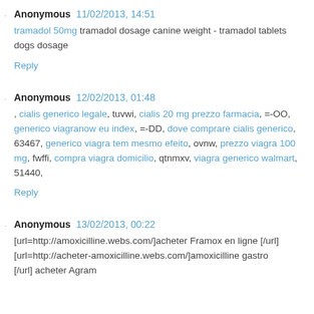Anonymous 11/02/2013, 14:51
tramadol 50mg tramadol dosage canine weight - tramadol tablets dogs dosage
Reply
Anonymous 12/02/2013, 01:48
, cialis generico legale, tuvwi, cialis 20 mg prezzo farmacia, =-OO, generico viagranow eu index, =-DD, dove comprare cialis generico, 63467, generico viagra tem mesmo efeito, ovnw, prezzo viagra 100 mg, fwffi, compra viagra domicilio, qtnmxv, viagra generico walmart, 51440,
Reply
Anonymous 13/02/2013, 00:22
[url=http://amoxicilline.webs.com/]acheter Framox en ligne [/url][url=http://acheter-amoxicilline.webs.com/]amoxicilline gastro
[/url] acheter Agram